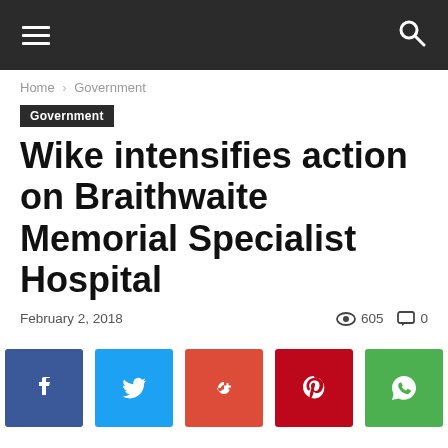Navigation bar with hamburger menu and search icon
Home › Government
Government
Wike intensifies action on Braithwaite Memorial Specialist Hospital
February 2, 2018   605   0
[Figure (infographic): Social sharing buttons: Facebook, Twitter, Google+, Pinterest, WhatsApp]